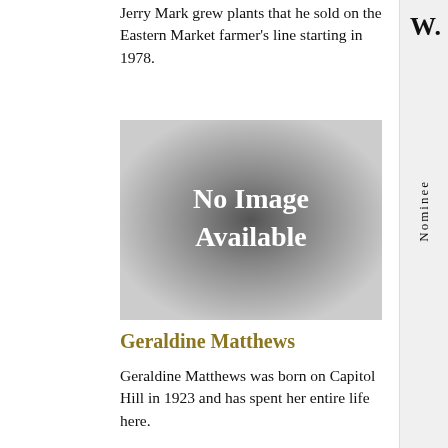Jerry Mark grew plants that he sold on the Eastern Market farmer's line starting in 1978.
[Figure (other): No Image Available placeholder graphic with dark radial gradient background and white serif text]
Geraldine Matthews
Geraldine Matthews was born on Capitol Hill in 1923 and has spent her entire life here.